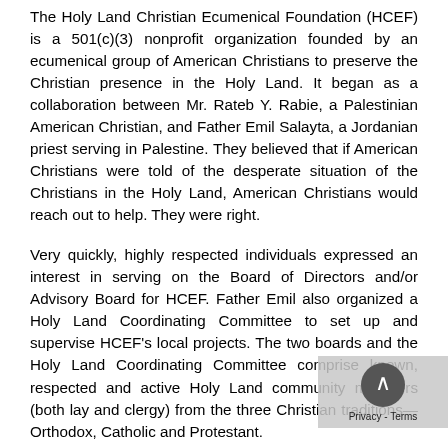The Holy Land Christian Ecumenical Foundation (HCEF) is a 501(c)(3) nonprofit organization founded by an ecumenical group of American Christians to preserve the Christian presence in the Holy Land. It began as a collaboration between Mr. Rateb Y. Rabie, a Palestinian American Christian, and Father Emil Salayta, a Jordanian priest serving in Palestine. They believed that if American Christians were told of the desperate situation of the Christians in the Holy Land, American Christians would reach out to help. They were right.
Very quickly, highly respected individuals expressed an interest in serving on the Board of Directors and/or Advisory Board for HCEF. Father Emil also organized a Holy Land Coordinating Committee to set up and supervise HCEF's local projects. The two boards and the Holy Land Coordinating Committee comprise known, respected and active Holy Land community members (both lay and clergy) from the three Christian traditions—Orthodox, Catholic and Protestant.
HCEF serves all of the Christian denominations with Diocese of Jerusalem in Palestine, Jordan and Israel.